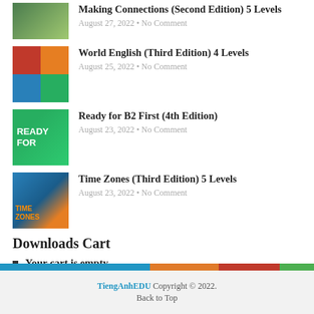Making Connections (Second Edition) 5 Levels
August 27, 2022 • No Comment
World English (Third Edition) 4 Levels
August 25, 2022 • No Comment
Ready for B2 First (4th Edition)
August 23, 2022 • No Comment
Time Zones (Third Edition) 5 Levels
August 23, 2022 • No Comment
Downloads Cart
Your cart is empty.
TiengAnhEDU Copyright © 2022.
Back to Top